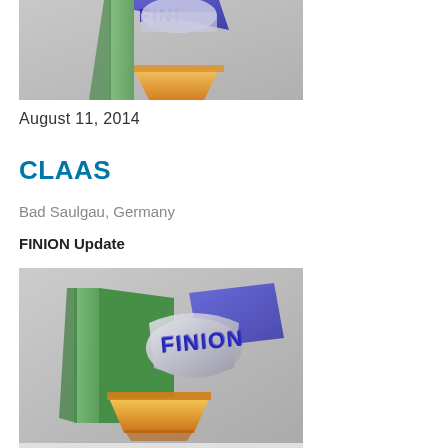[Figure (illustration): 3D render of FINION logo/model cropped at top, showing green, orange, and blue geometric shapes on grey background]
August 11, 2014
CLAAS
Bad Saulgau, Germany
FINION Update
[Figure (illustration): 3D render of FINION logo model showing the word FINION on a blue/silver shape with green and orange base elements on grey background]